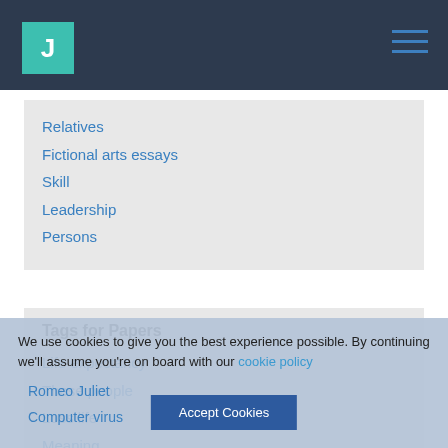J
Relatives
Fictional arts essays
Skill
Leadership
Persons
Tags for Papers
Life expectancy
These people
Loss life
Meaning
Affects
Romeo Juliet
Computer virus
We use cookies to give you the best experience possible. By continuing we'll assume you're on board with our cookie policy